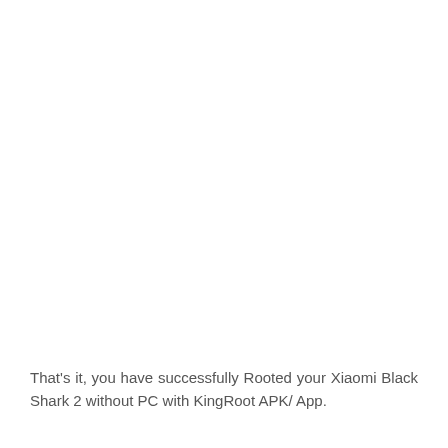That's it, you have successfully Rooted your Xiaomi Black Shark 2 without PC with KingRoot APK/ App.